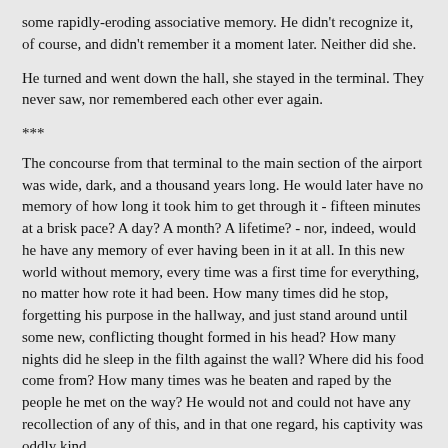some rapidly-eroding associative memory. He didn't recognize it, of course, and didn't remember it a moment later. Neither did she.
He turned and went down the hall, she stayed in the terminal. They never saw, nor remembered each other ever again.
***
The concourse from that terminal to the main section of the airport was wide, dark, and a thousand years long. He would later have no memory of how long it took him to get through it - fifteen minutes at a brisk pace? A day? A month? A lifetime? - nor, indeed, would he have any memory of ever having been in it at all. In this new world without memory, every time was a first time for everything, no matter how rote it had been. How many times did he stop, forgetting his purpose in the hallway, and just stand around until some new, conflicting thought formed in his head? How many nights did he sleep in the filth against the wall? Where did his food come from? How many times was he beaten and raped by the people he met on the way? He would not and could not have any recollection of any of this, and in that one regard, his captivity was oddly kind.